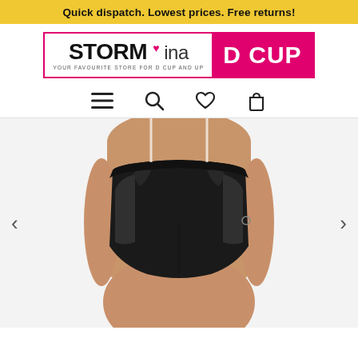Quick dispatch. Lowest prices. Free returns!
[Figure (logo): Storm in a D Cup logo — white box with pink border showing 'STORM ina' in bold black with a pink heart, subtitle 'YOUR FAVOURITE STORE FOR D CUP AND UP', and a pink box with white bold text 'D CUP']
[Figure (other): Navigation icons: hamburger menu, search (magnifier), heart/wishlist, shopping bag]
[Figure (photo): Close-up photo of a plus-size model wearing black high-waist briefs with mesh and lace panels. Navigation arrows on left and right sides of the image.]